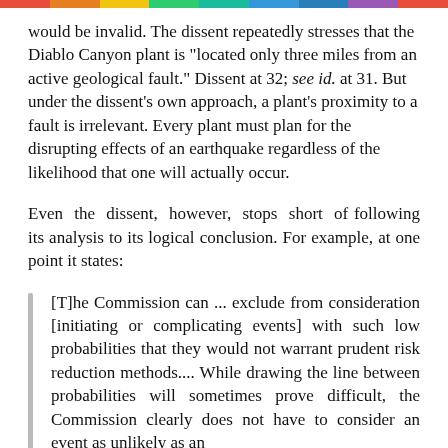would be invalid. The dissent repeatedly stresses that the Diablo Canyon plant is "located only three miles from an active geological fault." Dissent at 32; see id. at 31. But under the dissent's own approach, a plant's proximity to a fault is irrelevant. Every plant must plan for the disrupting effects of an earthquake regardless of the likelihood that one will actually occur.
Even the dissent, however, stops short of following its analysis to its logical conclusion. For example, at one point it states:
[T]he Commission can ... exclude from consideration [initiating or complicating events] with such low probabilities that they would not warrant prudent risk reduction methods.... While drawing the line between probabilities will sometimes prove difficult, the Commission clearly does not have to consider an event as unlikely as an